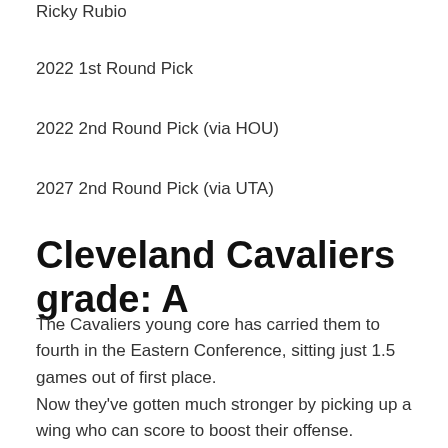Ricky Rubio
2022 1st Round Pick
2022 2nd Round Pick (via HOU)
2027 2nd Round Pick (via UTA)
Cleveland Cavaliers grade: A
The Cavaliers young core has carried them to fourth in the Eastern Conference, sitting just 1.5 games out of first place.
Now they've gotten much stronger by picking up a wing who can score to boost their offense.
LeVert is averaging 18.7 points per game this year after